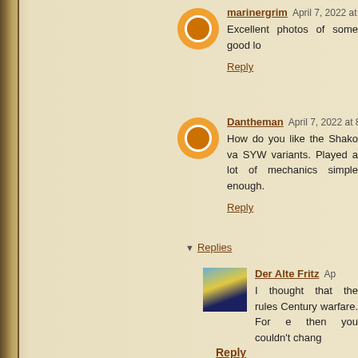marinergrim  April 7, 2022 at 2
Excellent photos of some good lo
Reply
Dantheman  April 7, 2022 at 8:2
How do you like the Shako va SYW variants. Played a lot of mechanics simple enough.
Reply
Replies
Der Alte Fritz  Ap
I thought that the rules Century warfare. For e then you couldn't chang
Reply
History in Miniature  April 8, 2
Great convention write ur